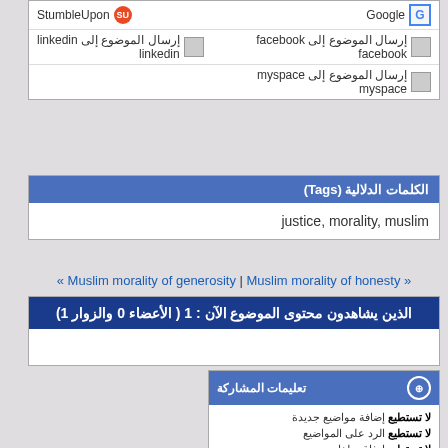| Google | StumbleUpon |
| إرسال الموضوع إلى facebook | إرسال الموضوع إلى linkedin |
| إرسال الموضوع إلى myspace |  |
الكلمات الدلالية (Tags)
justice, morality, muslim
« Muslim morality of generosity | Muslim morality of honesty »
الذين يشاهدون محتوى الموضوع الآن : 1 ( الأعضاء 0 والزوار 1)
تعليمات المشاركة
لا تستطيع إضافة مواضيع جديدة
لا تستطيع الرد على المواضيع
لا تستطيع إرفاق ملفات
لا تستطيع تعديل مشاركاتك
BB code is متاحة
الابتسامات متاحة
كود [IMG] متاحة
كود HTML معطلة
Trackbacks are معطلة
Pingbacks are